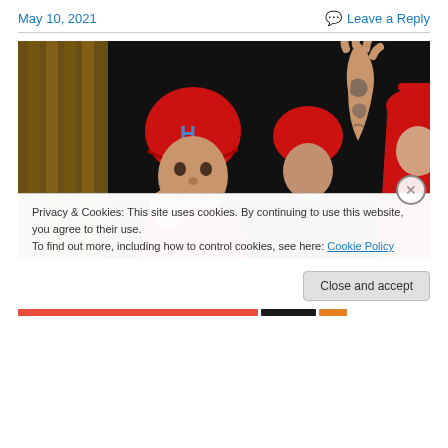May 10, 2021
Leave a Reply
[Figure (photo): Baseball players in red uniforms and helmets celebrating in a dugout, one player high-fiving a teammate with a tattooed arm raised.]
Privacy & Cookies: This site uses cookies. By continuing to use this website, you agree to their use.
To find out more, including how to control cookies, see here: Cookie Policy
Close and accept